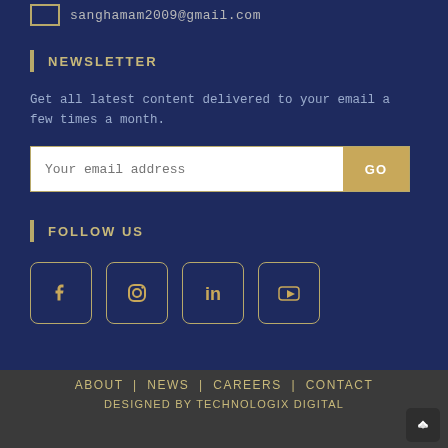sanghamam2009@gmail.com
NEWSLETTER
Get all latest content delivered to your email a few times a month.
[Figure (other): Email subscription input field with placeholder 'Your email address' and a GO button]
FOLLOW US
[Figure (other): Four social media icons in gold-bordered rounded square boxes: Facebook, Instagram, LinkedIn, YouTube]
ABOUT | NEWS | CAREERS | CONTACT
DESIGNED BY TECHNOLOGIX DIGITAL